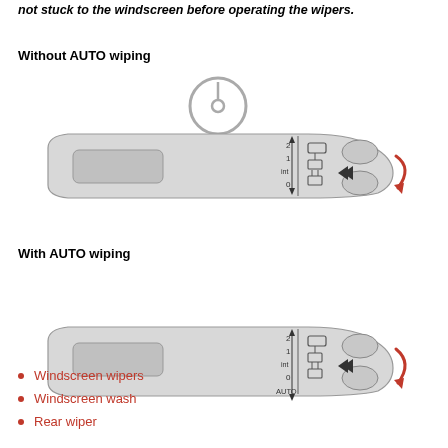not stuck to the windscreen before operating the wipers.
Without AUTO wiping
[Figure (engineering-diagram): Diagram showing a wiper stalk control with steering wheel above it. The stalk shows positions labeled 2, 1, int, 0 with an arrow pointing down. A red curved arrow on the right indicates rotation/push direction. Buttons on the stalk include wiper symbols.]
With AUTO wiping
[Figure (engineering-diagram): Diagram showing a wiper stalk control similar to above but with positions labeled 2, 1, int, 0, AUTO with arrow pointing down further to AUTO position. A red curved arrow on the right indicates rotation/push direction.]
Windscreen wipers
Windscreen wash
Rear wiper